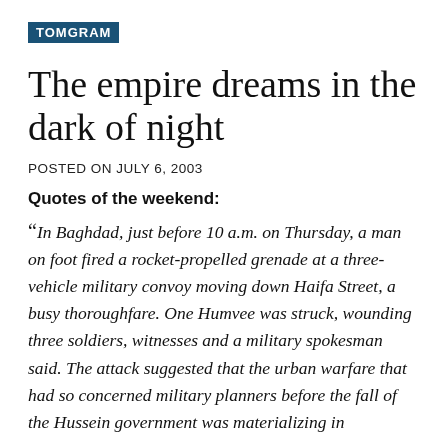TOMGRAM
The empire dreams in the dark of night
POSTED ON JULY 6, 2003
Quotes of the weekend:
“In Baghdad, just before 10 a.m. on Thursday, a man on foot fired a rocket-propelled grenade at a three-vehicle military convoy moving down Haifa Street, a busy thoroughfare. One Humvee was struck, wounding three soldiers, witnesses and a military spokesman said. The attack suggested that the urban warfare that had so concerned military planners before the fall of the Hussein government was materializing in